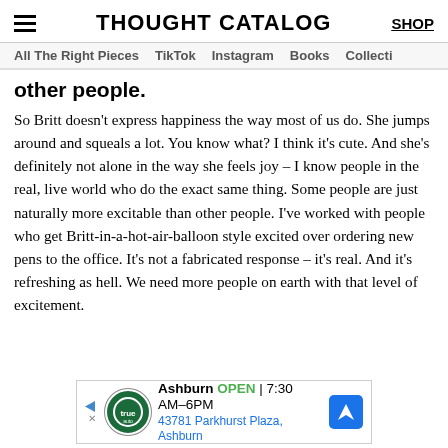THOUGHT CATALOG
All The Right Pieces | TikTok | Instagram | Books | Collecti
other people.
So Britt doesn't express happiness the way most of us do. She jumps around and squeals a lot. You know what? I think it's cute. And she's definitely not alone in the way she feels joy – I know people in the real, live world who do the exact same thing. Some people are just naturally more excitable than other people. I've worked with people who get Britt-in-a-hot-air-balloon style excited over ordering new pens to the office. It's not a fabricated response – it's real. And it's refreshing as hell. We need more people on earth with that level of excitement.
[Figure (infographic): Advertisement banner: Ashburn auto shop, OPEN 7:30AM–6PM, 43781 Parkhurst Plaza, Ashburn, with navigation icon]